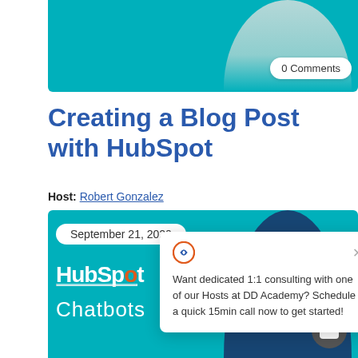[Figure (photo): Top teal banner with person cutout and 0 Comments badge]
Creating a Blog Post with HubSpot
Host: Robert Gonzalez
Today we are going to be taking a look
[Figure (screenshot): Popup widget with DD Academy logo, close button, and text: Want dedicated 1:1 consulting with one of our Hosts at DD Academy? Schedule a quick 15min call now to get started!]
[Figure (photo): Teal card with date September 21, 2020, HubSpot logo, Chatbots label, and person cutout with chat button]